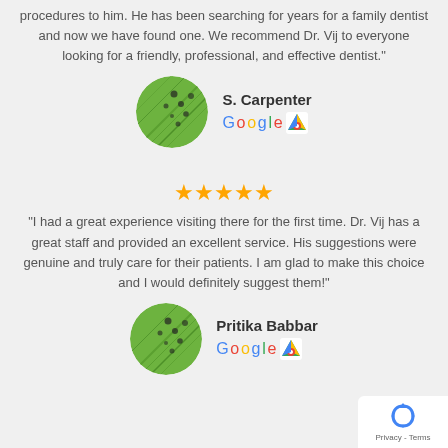procedures to him. He has been searching for years for a family dentist and now we have found one. We recommend Dr. Vij to everyone looking for a friendly, professional, and effective dentist."
[Figure (photo): Circular avatar photo showing a green leaf close-up — reviewer S. Carpenter]
S. Carpenter
[Figure (logo): Google Maps logo]
[Figure (other): Five gold stars rating]
"I had a great experience visiting there for the first time. Dr. Vij has a great staff and provided an excellent service. His suggestions were genuine and truly care for their patients. I am glad to make this choice and I would definitely suggest them!"
[Figure (photo): Circular avatar photo showing a green leaf close-up — reviewer Pritika Babbar]
Pritika Babbar
[Figure (logo): Google Maps logo]
[Figure (other): Privacy - Terms reCAPTCHA badge]